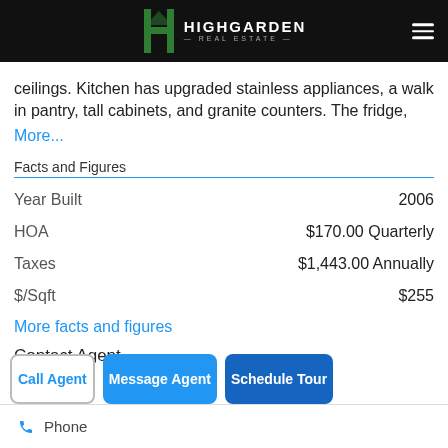Highgarden Real Estate
ceilings. Kitchen has upgraded stainless appliances, a walk in pantry, tall cabinets, and granite counters. The fridge, More...
Facts and Figures
| Label | Value |
| --- | --- |
| Year Built | 2006 |
| HOA | $170.00 Quarterly |
| Taxes | $1,443.00 Annually |
| $/Sqft | $255 |
More facts and figures
Contact Agent
Call Agent | Message Agent | Schedule Tour
Phone